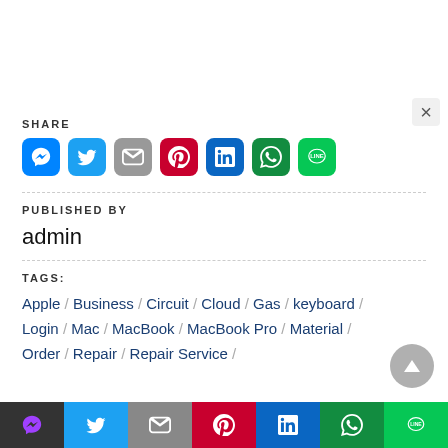×
SHARE
[Figure (other): Social share icons: Messenger, Twitter, Gmail, Pinterest, LinkedIn, WhatsApp, LINE]
PUBLISHED BY
admin
TAGS:
Apple / Business / Circuit / Cloud / Gas / keyboard / Login / Mac / MacBook / MacBook Pro / Material / Order / Repair / Repair Service
[Figure (other): Bottom social share bar: Messenger, Twitter, Gmail, Pinterest, LinkedIn, WhatsApp, LINE]